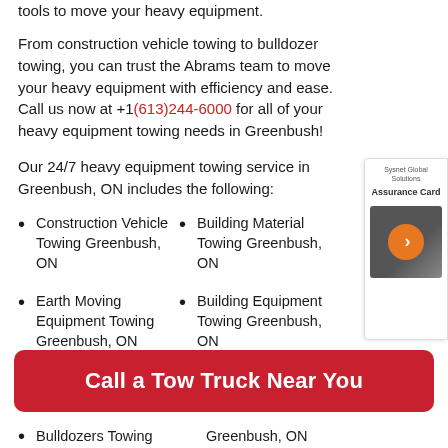tools to move your heavy equipment.
From construction vehicle towing to bulldozer towing, you can trust the Abrams team to move your heavy equipment with efficiency and ease. Call us now at +1(613)244-6000 for all of your heavy equipment towing needs in Greenbush!
Our 24/7 heavy equipment towing service in Greenbush, ON includes the following:
Construction Vehicle Towing Greenbush, ON
Earth Moving Equipment Towing Greenbush, ON
Building Material Towing Greenbush, ON
Building Equipment Towing Greenbush, ON
[Figure (other): Sysnet Global Solutions Assurance Card promotional widget with orange arrow button]
Call a Tow Truck Near You
Bulldozers Towing Greenbush, ON